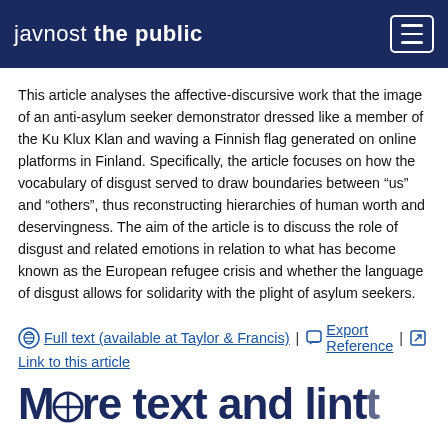javnost the public
This article analyses the affective-discursive work that the image of an anti-asylum seeker demonstrator dressed like a member of the Ku Klux Klan and waving a Finnish flag generated on online platforms in Finland. Specifically, the article focuses on how the vocabulary of disgust served to draw boundaries between “us” and “others”, thus reconstructing hierarchies of human worth and deservingness. The aim of the article is to discuss the role of disgust and related emotions in relation to what has become known as the European refugee crisis and whether the language of disgust allows for solidarity with the plight of asylum seekers.
Full text (available at Taylor & Francis) | Export Reference | Link to this article